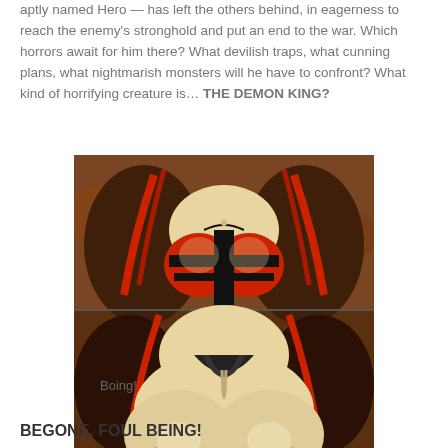aptly named Hero — has left the others behind, in eagerness to reach the enemy's stronghold and put an end to the war. Which horrors await for him there? What devilish traps, what cunning plans, what nightmarish monsters will he have to confront? What kind of horrifying creature is… THE DEMON KING?
[Figure (illustration): Anime-style illustration of a female demon character with red and black armored top, large brown fur/dark hair flowing to sides, pale skin, split into upper torso and lower body/hips view]
Boing!
BEGONE, FOUL BEING!